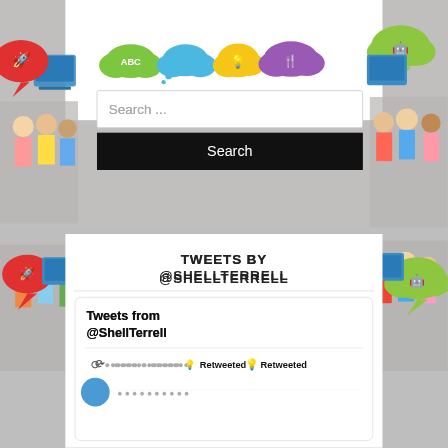[Figure (screenshot): Educational website background with colorful speech bubble icons (rocket, laptop, ABC cloud, lightbulb, fork/knife, robot), children on left and right sides, grey concrete wall background]
Search ...
Search
TWEETS BY @SHELLTERRELL
Tweets from @ShellTerrell
Retweeted